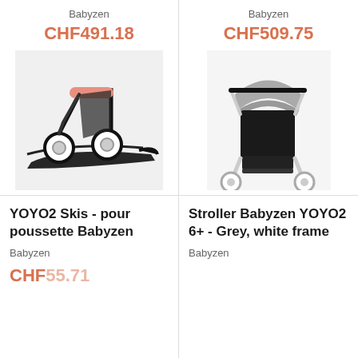Babyzen
CHF491.18
[Figure (photo): Close-up photo of YOYO2 Skis accessory for Babyzen stroller, showing black ski attachments with pink handle details and white wheels]
Babyzen
CHF509.75
[Figure (photo): Full photo of Stroller Babyzen YOYO2 6+ in grey color with white frame, showing the complete stroller with grey canopy and black seat]
YOYO2 Skis - pour poussette Babyzen
Babyzen
CHF55.71
Stroller Babyzen YOYO2 6+ - Grey, white frame
Babyzen